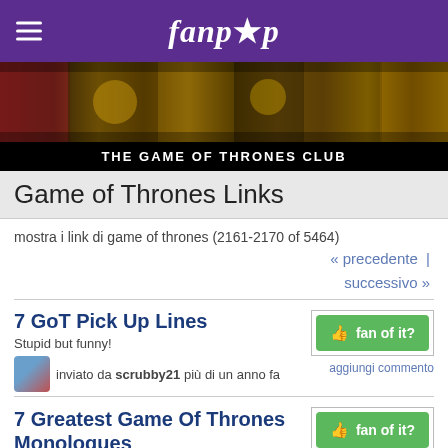fanpop
[Figure (photo): Game of Thrones banner strip showing castle/fantasy scenes in warm golden and dark tones]
THE GAME OF THRONES CLUB
Game of Thrones Links
mostra i link di game of thrones (2161-2170 of 5464)
« precedente | successivo »
7 GoT Pick Up Lines
Stupid but funny!
inviato da scrubby21 più di un anno fa
aggiungi commento
7 Greatest Game Of Thrones Monologues
inviato da sk91 più di un anno fa
aggiungi commento
7 Hopes for Game of Thrones: Season 7